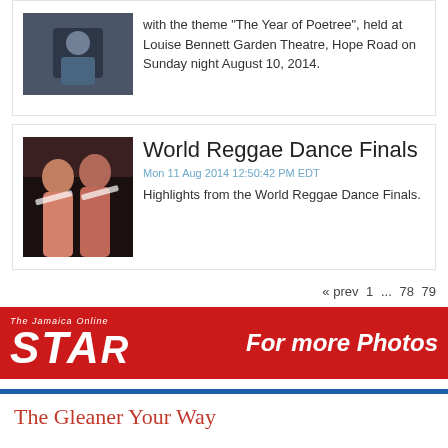[Figure (photo): Photo of a man at an event, top article thumbnail]
with the theme "The Year of Poetree", held at Louise Bennett Garden Theatre, Hope Road on Sunday night August 10, 2014.
[Figure (photo): Photo of two women smiling at World Reggae Dance Finals event]
World Reggae Dance Finals
Mon 11 Aug 2014 12:50:42 PM EDT
Highlights from the World Reggae Dance Finals.
« prev  1  ...  78  79
[Figure (logo): The Jamaica Star Online banner advertisement - For more Photos]
The Gleaner Your Way